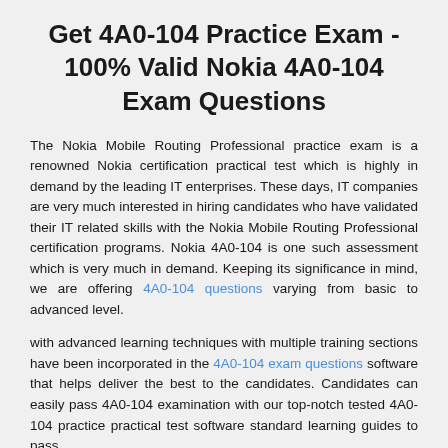Get 4A0-104 Practice Exam - 100% Valid Nokia 4A0-104 Exam Questions
The Nokia Mobile Routing Professional practice exam is a renowned Nokia certification practical test which is highly in demand by the leading IT enterprises. These days, IT companies are very much interested in hiring candidates who have validated their IT related skills with the Nokia Mobile Routing Professional certification programs. Nokia 4A0-104 is one such assessment which is very much in demand. Keeping its significance in mind, we are offering 4A0-104 questions varying from basic to advanced level.
with advanced learning techniques with multiple training sections have been incorporated in the 4A0-104 exam questions software that helps deliver the best to the candidates. Candidates can easily pass 4A0-104 examination with our top-notch tested 4A0-104 practice practical test software standard learning guides to pass